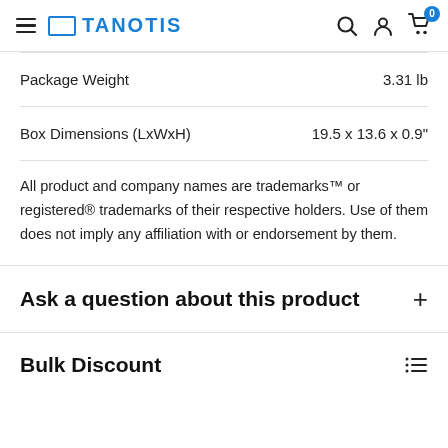TANOTIS
| Property | Value |
| --- | --- |
| Package Weight | 3.31 lb |
| Box Dimensions (LxWxH) | 19.5 x 13.6 x 0.9" |
All product and company names are trademarks™ or registered® trademarks of their respective holders. Use of them does not imply any affiliation with or endorsement by them.
Ask a question about this product
Bulk Discount